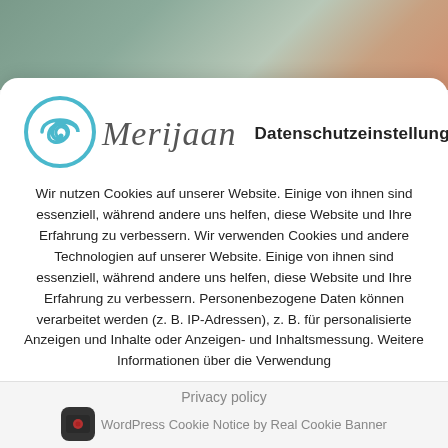[Figure (photo): Blurred website background image visible at the top of the page]
[Figure (logo): Merijaan logo: teal circular wave/swirl icon with italic script text 'Merijaan']
Datenschutzeinstellungen
Wir nutzen Cookies auf unserer Website. Einige von ihnen sind essenziell, während andere uns helfen, diese Website und Ihre Erfahrung zu verbessern. Wir verwenden Cookies und andere Technologien auf unserer Website. Einige von ihnen sind essenziell, während andere uns helfen, diese Website und Ihre Erfahrung zu verbessern. Personenbezogene Daten können verarbeitet werden (z. B. IP-Adressen), z. B. für personalisierte Anzeigen und Inhalte oder Anzeigen- und Inhaltsmessung. Weitere Informationen über die Verwendung
Alle Akzeptieren
Continue without consent
Individuelle Datenschutzeinstellung
Privacy policy
WordPress Cookie Notice by Real Cookie Banner